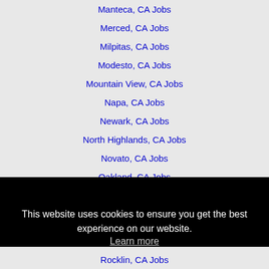Manteca, CA Jobs
Merced, CA Jobs
Milpitas, CA Jobs
Modesto, CA Jobs
Mountain View, CA Jobs
Napa, CA Jobs
Newark, CA Jobs
North Highlands, CA Jobs
Novato, CA Jobs
Oakland, CA Jobs
This website uses cookies to ensure you get the best experience on our website.
Learn more
Got it!
Rocklin, CA Jobs